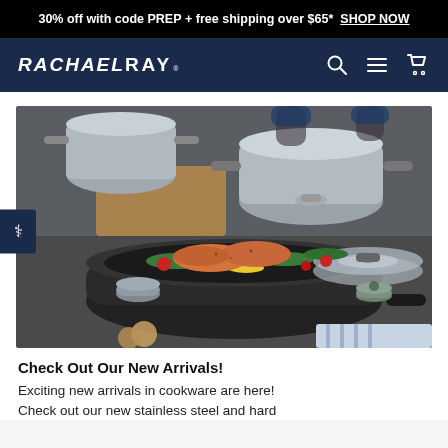30% off with code PREP + free shipping over $65* SHOP NOW
[Figure (logo): Rachael Ray logo on navy background with search, menu and cart icons]
[Figure (photo): A dark skillet pan with seared salmon, green beans, cherry tomatoes and corn, surrounded by stainless steel pots and small bowls on a dark kitchen counter]
Check Out Our New Arrivals!
Exciting new arrivals in cookware are here! Check out our new stainless steel and hard